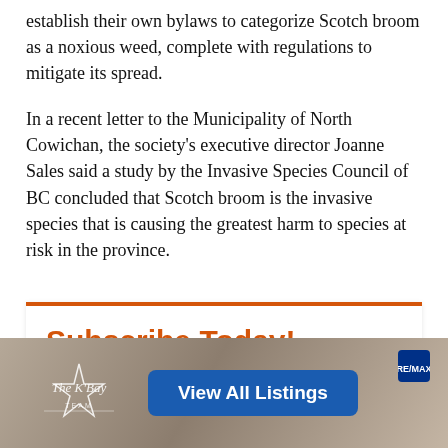establish their own bylaws to categorize Scotch broom as a noxious weed, complete with regulations to mitigate its spread.
In a recent letter to the Municipality of North Cowichan, the society's executive director Joanne Sales said a study by the Invasive Species Council of BC concluded that Scotch broom is the invasive species that is causing the greatest harm to species at risk in the province.
[Figure (infographic): Subscribe Today! newsletter sign-up box with orange top border, heading 'Subscribe Today!' in orange, subtitle 'Get Our Latest Articles in Your Inbox', and a scroll-to-top circular grey button.]
[Figure (infographic): Advertisement banner for The Bay Team real estate with logo on left, blue 'View All Listings' button in center, and RE/MAX logo on upper right, on a grey/brown textured background.]